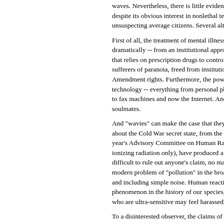waves. Nevertheless, there is little evidence to despite its obvious interest in nonlethal techn unsuspecting average citizens. Several altern
First of all, the treatment of mental illness ov dramatically -- from an institutional approach that relies on prescription drugs to control sy sufferers of paranoia, freed from institutions, Amendment rights. Furthermore, the power t technology -- everything from personal phot to fax machines and now the Internet. And o soulmates.
And "wavies" can make the case that they de about the Cold War secret state, from the CI year's Advisory Committee on Human Radia ionizing radiation only), have produced a so difficult to rule out anyone's claim, no matte modern problem of "pollution" in the broade and including simple noise. Human reactions phenomenon in the history of our species, ap who are ultra-sensitive may feel harassed, ev
To a disinterested observer, the claims of the the claims of those who have experienced pr not to belittle anyone's beliefs, but rather to what we consider to be credible. For thousan allow sufficient space for religion. Only rece claims of "wavies." The increase in their nu whether the secret state is behind their probl
This brings us to the "second front" mention mind control applied on an individual level. "broadcast" to large populations, techniques electronic stimulation of the brain (ESB) are exotic techniques, whose scientific status an